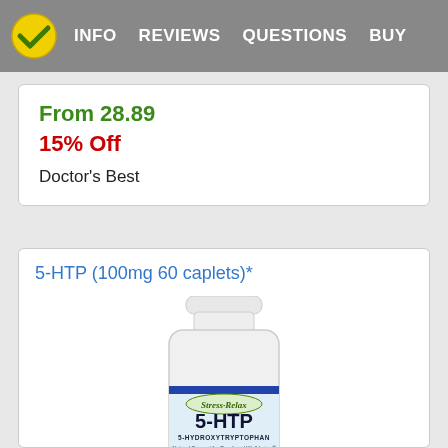INFO   REVIEWS   QUESTIONS   BUY
From 28.89
15% Off
Doctor's Best
5-HTP (100mg 60 caplets)*
[Figure (photo): Bottle of Stress-Relax 5-HTP 5-Hydroxytryptophan 100mg dietary supplement, recommended by Dr. Michael Murray, natural support for emotional well-being]